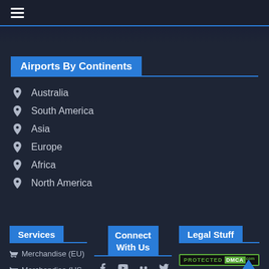≡ (hamburger menu)
Airports By Continents
Australia
South America
Asia
Europe
Africa
North America
Services
Merchandise (EU)
Merchandise (US, CA, AU)
Connect With Us
[Figure (other): Social media icons: Facebook, YouTube, Flickr, Twitter, Instagram, Tumblr, Reddit, VK]
Legal Stuff
[Figure (other): DMCA Protected badge with green border]
Site Notice
Privacy Policy